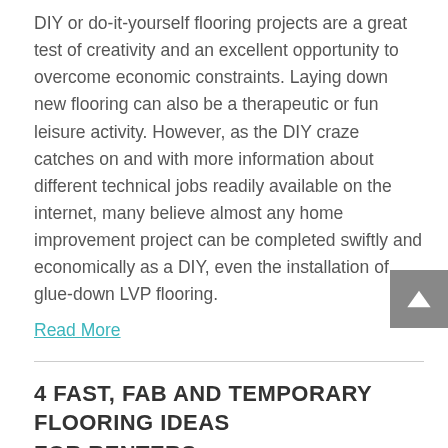DIY or do-it-yourself flooring projects are a great test of creativity and an excellent opportunity to overcome economic constraints. Laying down new flooring can also be a therapeutic or fun leisure activity. However, as the DIY craze catches on and with more information about different technical jobs readily available on the internet, many believe almost any home improvement project can be completed swiftly and economically as a DIY, even the installation of glue-down LVP flooring.
Read More
4 FAST, FAB AND TEMPORARY FLOORING IDEAS FOR RENTERS
Author: External Author | Mar 10, 2021 | Categories: